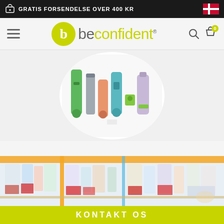GRATIS FORSENDELSE OVER 400 KR
[Figure (logo): beconfident brand logo with green circle containing letter b and brand name]
[Figure (photo): Various beconfident cosmetic and dental product tubes and containers arranged in a circular composition on white background]
[Figure (photo): Pharmacy shelves with colorful product boxes, blurred background]
KONTAKT OS